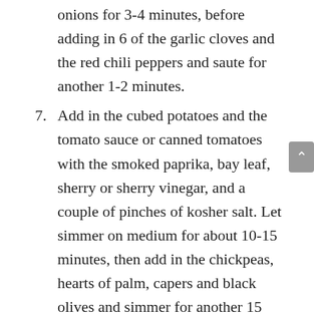onions for 3-4 minutes, before adding in 6 of the garlic cloves and the red chili peppers and saute for another 1-2 minutes.
7. Add in the cubed potatoes and the tomato sauce or canned tomatoes with the smoked paprika, bay leaf, sherry or sherry vinegar, and a couple of pinches of kosher salt. Let simmer on medium for about 10-15 minutes, then add in the chickpeas, hearts of palm, capers and black olives and simmer for another 15 minutes.
8. Finally add in the banana peppers